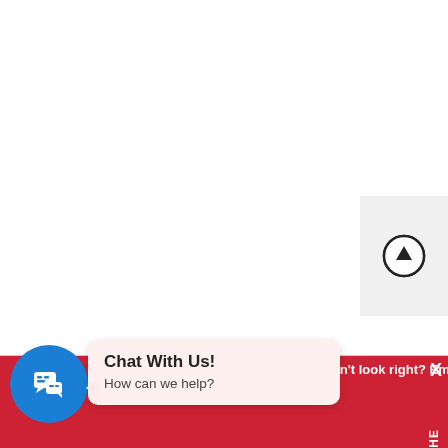[Figure (screenshot): White blank main content area of a webpage]
[Figure (screenshot): Scroll-to-top circular button icon on light gray background, positioned at right side]
[Figure (screenshot): Chat With Us popup bubble with blue circular chat icon and message text]
Chat With Us!
How can we help?
Doesn't look right? Email yourself
HE